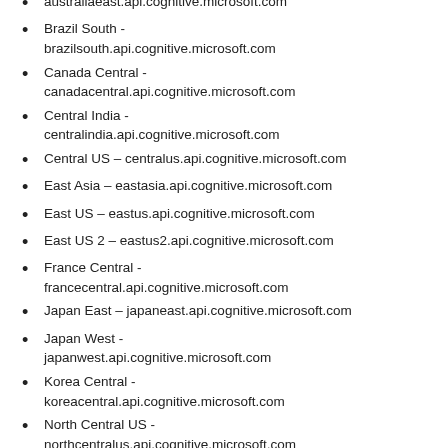australiaeast.api.cognitive.microsoft.com
Brazil South - brazilsouth.api.cognitive.microsoft.com
Canada Central - canadacentral.api.cognitive.microsoft.com
Central India - centralindia.api.cognitive.microsoft.com
Central US - centralus.api.cognitive.microsoft.com
East Asia - eastasia.api.cognitive.microsoft.com
East US - eastus.api.cognitive.microsoft.com
East US 2 - eastus2.api.cognitive.microsoft.com
France Central - francecentral.api.cognitive.microsoft.com
Japan East - japaneast.api.cognitive.microsoft.com
Japan West - japanwest.api.cognitive.microsoft.com
Korea Central - koreacentral.api.cognitive.microsoft.com
North Central US - northcentralus.api.cognitive.microsoft.com
North Europe - northeurope.api.cognitive.microsoft.com
South Africa North -